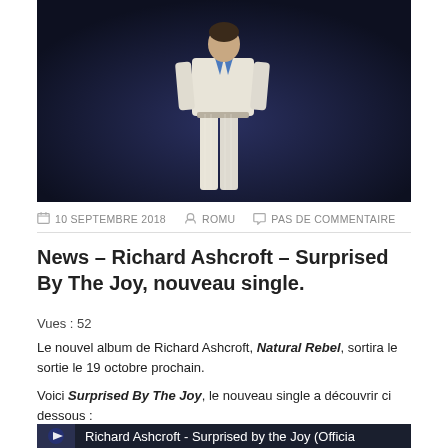[Figure (photo): Person standing in white pinstripe suit with blue shirt, on dark navy background]
10 SEPTEMBRE 2018   ROMU   PAS DE COMMENTAIRE
News – Richard Ashcroft – Surprised By The Joy, nouveau single.
Vues : 52
Le nouvel album de Richard Ashcroft, Natural Rebel, sortira le  sortie le 19 octobre prochain.
Voici Surprised By The Joy, le nouveau single a découvrir ci dessous :
[Figure (screenshot): Video thumbnail for Richard Ashcroft - Surprised by the Joy (Official)]